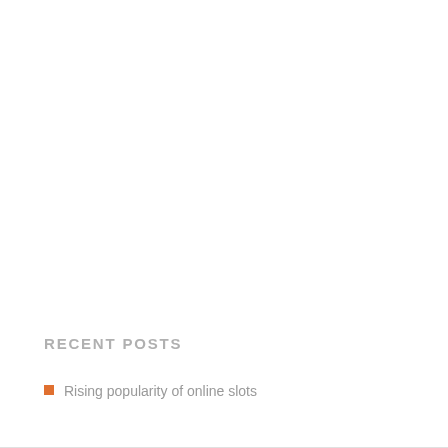RECENT POSTS
Rising popularity of online slots